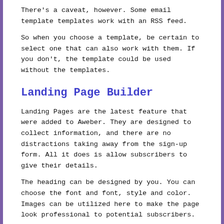There's a caveat, however. Some email template templates work with an RSS feed.
So when you choose a template, be certain to select one that can also work with them. If you don't, the template could be used without the templates.
Landing Page Builder
Landing Pages are the latest feature that were added to Aweber. They are designed to collect information, and there are no distractions taking away from the sign-up form. All it does is allow subscribers to give their details.
The heading can be designed by you. You can choose the font and font, style and color. Images can be utilized here to make the page look professional to potential subscribers.
However, this feature cannot be tested through automatic A/B